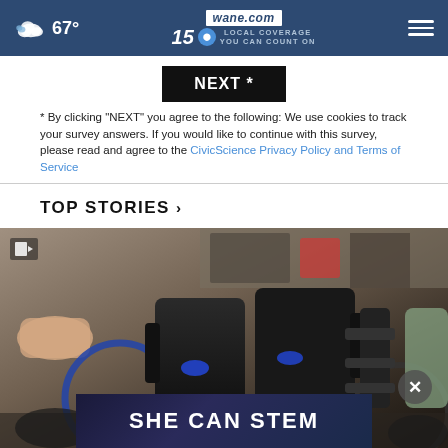67° | wane.com | 15 LOCAL COVERAGE YOU CAN COUNT ON
NEXT *
* By clicking "NEXT" you agree to the following: We use cookies to track your survey answers. If you would like to continue with this survey, please read and agree to the CivicScience Privacy Policy and Terms of Service
TOP STORIES ›
[Figure (photo): A power wheelchair being assembled or adjusted in a garage/workshop setting. A person's arms are visible working on the chair. An overlay banner reads 'SHE CAN STEM' in white bold text on a dark navy background.]